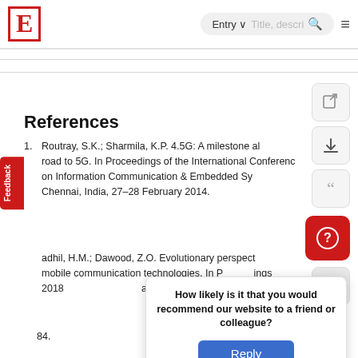E | Entry  Title, descri... [search] [menu]
References
1. Routray, S.K.; Sharmila, K.P. 4.5G: A milestone along the road to 5G. In Proceedings of the International Conference on Information Communication & Embedded Systems, Chennai, India, 27–28 February 2014.
2. [author], H.M.; Dawood, Z.O. Evolutionary perspectives on mobile communication technologies. In Proceedings of [conference] 2018 [no.] [publisher] [city] [pages] –84.
How likely is it that you would recommend our website to a friend or colleague? Reply